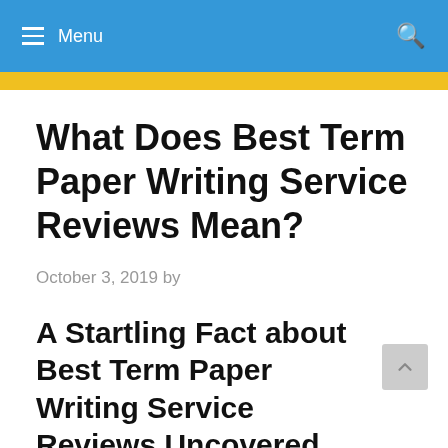Menu
What Does Best Term Paper Writing Service Reviews Mean?
October 3, 2019 by
A Startling Fact about Best Term Paper Writing Service Reviews Uncovered